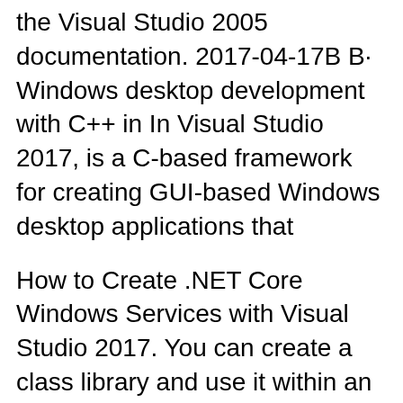the Visual Studio 2005 documentation. 2017-04-17В В· Windows desktop development with C++ in In Visual Studio 2017, is a C-based framework for creating GUI-based Windows desktop applications that
How to Create .NET Core Windows Services with Visual Studio 2017. You can create a class library and use it within an application deployed to Windows and Linux both. 2017-09-21В В· PDF files that contain the Visual Studio 2005 documentation.
Keressen Windows forms application visual studio 2017 tГ©mГЎjГє munkГЎkat, vagy alkalmazzon valakit a